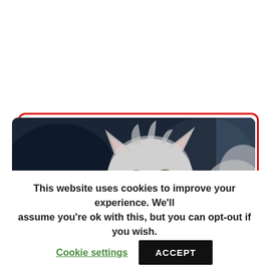[Figure (photo): A fluffy grey and white kitten with an intense expression, set against a dark blurred background. The kitten appears to be crouching or sniffing something. The photo is displayed inside a rounded-corner card with a red border.]
This website uses cookies to improve your experience. We'll assume you're ok with this, but you can opt-out if you wish.
Cookie settings
ACCEPT